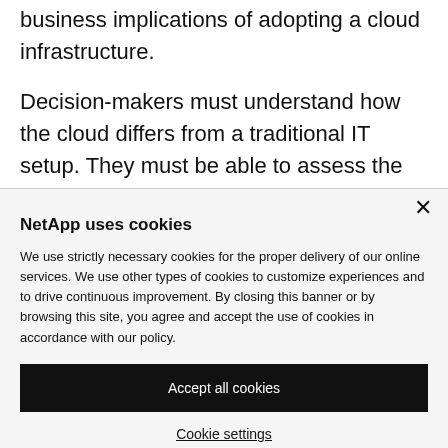business implications of adopting a cloud infrastructure.
Decision-makers must understand how the cloud differs from a traditional IT setup. They must be able to assess the benefits, risks,
NetApp uses cookies
We use strictly necessary cookies for the proper delivery of our online services. We use other types of cookies to customize experiences and to drive continuous improvement. By closing this banner or by browsing this site, you agree and accept the use of cookies in accordance with our policy.
Accept all cookies
Cookie settings